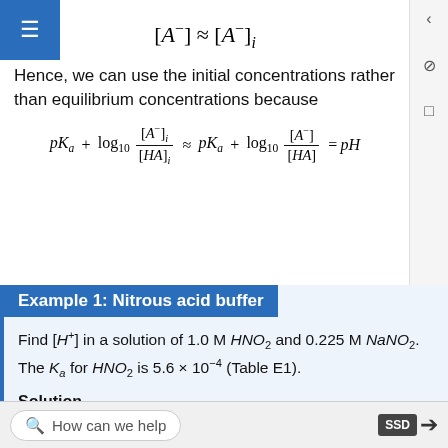Hence, we can use the initial concentrations rather than equilibrium concentrations because
Example 1: Nitrous acid buffer
Find [H+] in a solution of 1.0 M HNO2 and 0.225 M NaNO2. The Ka for HNO2 is 5.6 × 10^-4 (Table E1).
Solution